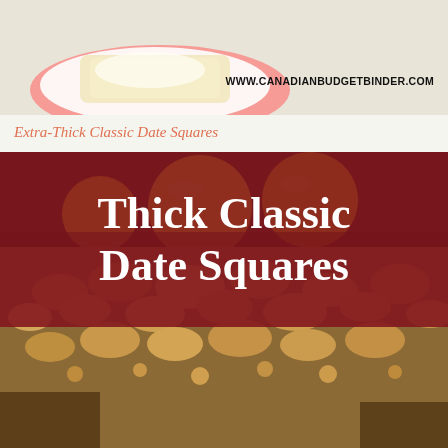[Figure (photo): Top portion of a food/recipe image showing a white plate with baked goods, a red rim visible, cream-colored food item on plate, against a light background. Website URL overlaid on top right.]
WWW.CANADIANBUDGETBINDER.COM
Extra-Thick Classic Date Squares
[Figure (photo): Close-up food photograph of thick crumbly oat topping of classic date squares in a dark cast iron pan, with yellow lemons visible in the background. Red/maroon banner overlay with white text reading 'Thick Classic Date Squares'.]
Thick Classic Date Squares